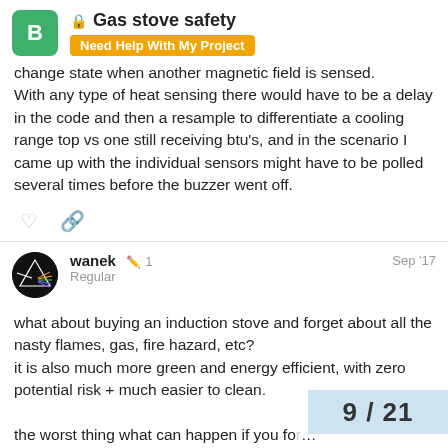Gas stove safety | Need Help With My Project
change state when another magnetic field is sensed.
With any type of heat sensing there would have to be a delay in the code and then a resample to differentiate a cooling range top vs one still receiving btu's, and in the scenario I came up with the individual sensors might have to be polled several times before the buzzer went off.
wanek
Regular
1 edit Sep '17
what about buying an induction stove and forget about all the nasty flames, gas, fire hazard, etc?
it is also much more green and energy efficient, with zero potential risk + much easier to clean.
the worst thing what can happen if you fo[r]... turned on stove, that you create some sm[oke]...
9 / 21